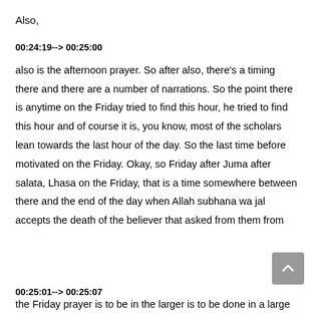Also,
00:24:19--> 00:25:00
also is the afternoon prayer. So after also, there's a timing there and there are a number of narrations. So the point there is anytime on the Friday tried to find this hour, he tried to find this hour and of course it is, you know, most of the scholars lean towards the last hour of the day. So the last time before motivated on the Friday. Okay, so Friday after Juma after salata, Lhasa on the Friday, that is a time somewhere between there and the end of the day when Allah subhana wa jal accepts the death of the believer that asked from them from
00:25:01--> 00:25:07
the Friday prayer is to be in the larger is to be done in a large